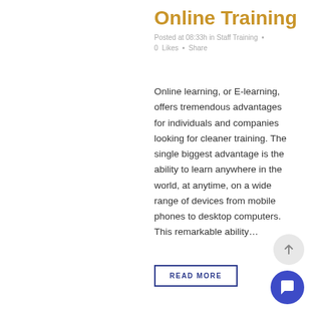Online Training
Posted at 08:33h in Staff Training  •  0  Likes  •  Share
Online learning, or E-learning, offers tremendous advantages for individuals and companies looking for cleaner training. The single biggest advantage is the ability to learn anywhere in the world, at anytime, on a wide range of devices from mobile phones to desktop computers. This remarkable ability…
READ MORE